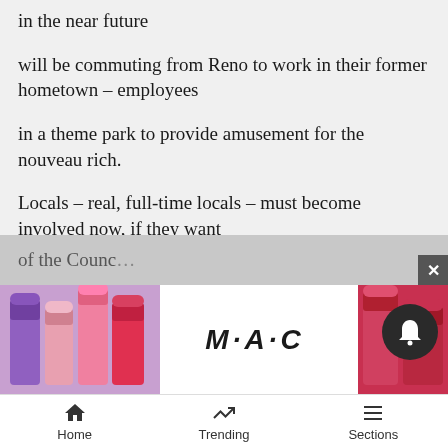in the near future
will be commuting from Reno to work in their former hometown – employees
in a theme park to provide amusement for the nouveau rich.
Locals – real, full-time locals – must become involved now, if they want
any say in the future of the town.
Too often at council meetings, the comments heard are from those members
of the Counc
[Figure (photo): MAC cosmetics advertisement showing lipsticks and SHOP NOW button]
Home   Trending   Sections